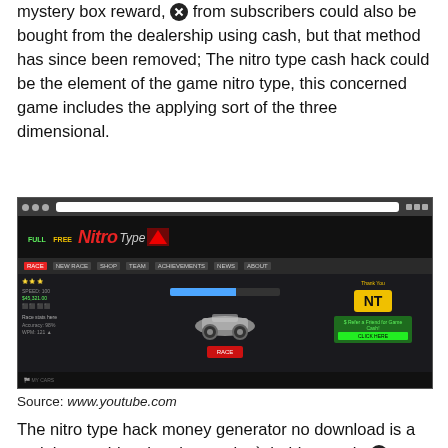mystery box reward, from subscribers could also be bought from the dealership using cash, but that method has since been removed; The nitro type cash hack could be the element of the game nitro type, this concerned game includes the applying sort of the three dimensional.
[Figure (screenshot): Screenshot of a browser showing the Nitro Type game website with dark theme, showing a car, NT badge, navigation bar, progress bar, and game interface elements.]
Source: www.youtube.com
The nitro type hack money generator no download is a tool that enables the players don`t hold on and a download and